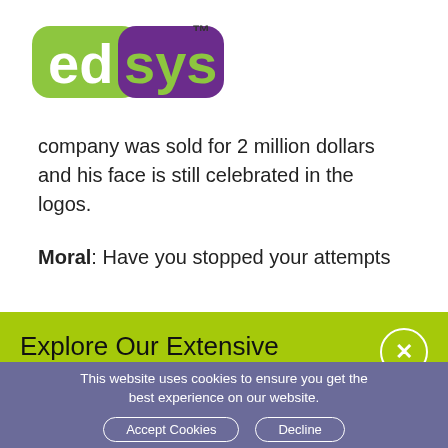[Figure (logo): edsys logo with green 'ed' and purple 'sys' text, TM mark]
company was sold for 2 million dollars and his face is still celebrated in the logos.
Moral: Have you stopped your attempts
Explore Our Extensive Researched Educational App Directory
This website uses cookies to ensure you get the best experience on our website.
Accept Cookies
Decline